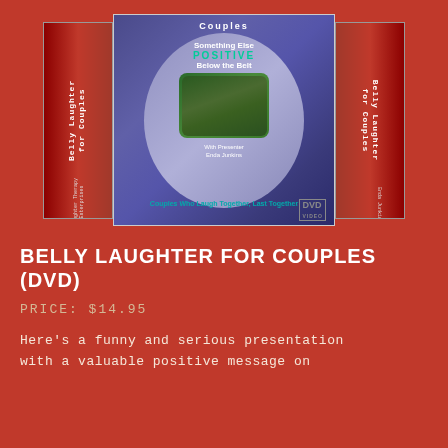[Figure (photo): DVD product image for 'Belly Laughter for Couples' showing front cover and two side spines. The front cover has a dark purple/blue background with an oval design containing text 'Couples', 'Something Else', 'POSITIVE', 'Below the Belt', a couple photo, and 'With Presenter Enda Junkins'. Curved text reads 'Couples Who Laugh Together, Last Together'. DVD logo in bottom right. The left and right spines show 'Belly Laughter for Couples' text vertically.]
BELLY LAUGHTER FOR COUPLES (DVD)
PRICE: $14.95
Here's a funny and serious presentation with a valuable positive message on